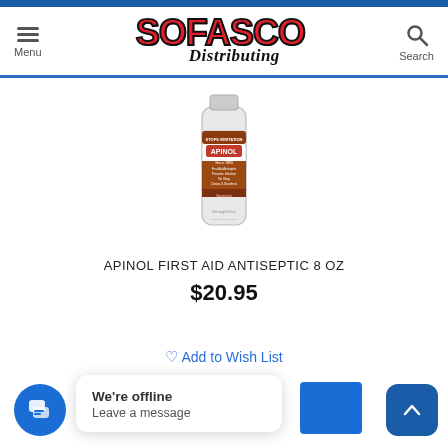[Figure (logo): Sofasco Distributing logo with red bold SOFASCO text and italic Distributing in black script]
[Figure (photo): Apinol First Aid Antiseptic 8 oz bottle, clear plastic with brown label]
APINOL FIRST AID ANTISEPTIC 8 OZ
$20.95
Add to Wish List
We're offline
Leave a message